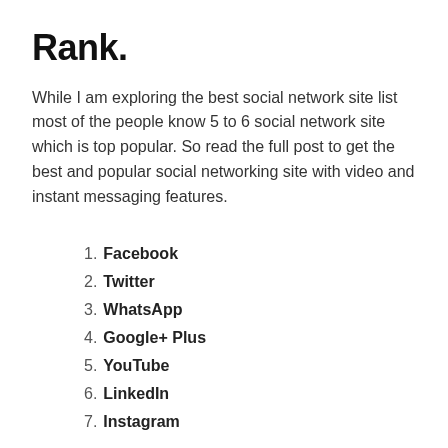Rank.
While I am exploring the best social network site list most of the people know 5 to 6 social network site which is top popular. So read the full post to get the best and popular social networking site with video and instant messaging features.
Facebook
Twitter
WhatsApp
Google+ Plus
YouTube
LinkedIn
Instagram